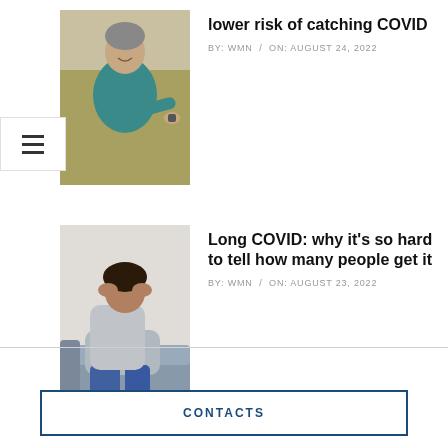[Figure (photo): Middle-aged man outdoors looking at his wrist/watch, wearing a teal shirt, natural background]
lower risk of catching COVID
BY: WMN / ON: AUGUST 24, 2022
[Figure (photo): Person sitting on a sofa with head in hands, appearing distressed, wearing grey and jeans]
Long COVID: why it’s so hard to tell how many people get it
BY: WMN / ON: AUGUST 23, 2022
CONTACTS